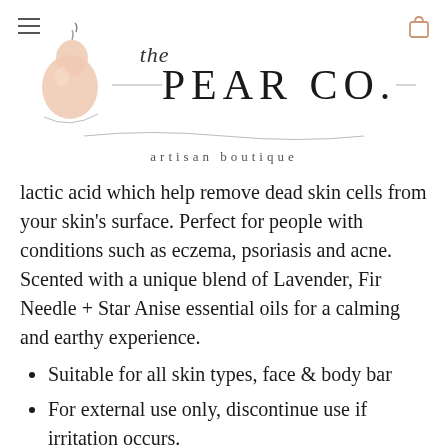[Figure (logo): The Pear Co. artisan boutique logo with illustrated pear, script 'the', serif brand name, and tagline]
lactic acid which help remove dead skin cells from your skin's surface. Perfect for people with conditions such as eczema, psoriasis and acne. Scented with a unique blend of Lavender, Fir Needle + Star Anise essential oils for a calming and earthy experience.
Suitable for all skin types, face & body bar
For external use only, discontinue use if irritation occurs.
For a longer lasting bar, allow soap to dry on a